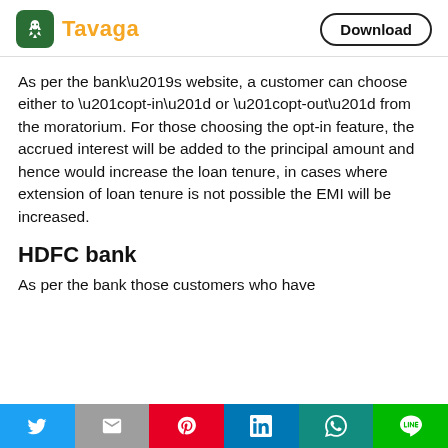Tavaga | Download
As per the bank’s website, a customer can choose either to “opt-in” or “opt-out” from the moratorium. For those choosing the opt-in feature, the accrued interest will be added to the principal amount and hence would increase the loan tenure, in cases where extension of loan tenure is not possible the EMI will be increased.
HDFC bank
As per the bank those customers who have